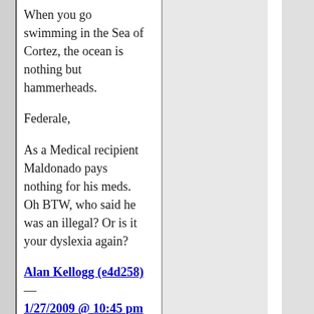When you go swimming in the Sea of Cortez, the ocean is nothing but hammerheads.
Federale,
As a Medical recipient Maldonado pays nothing for his meds. Oh BTW, who said he was an illegal? Or is it your dyslexia again?
Alan Kellogg (e4d258) — 1/27/2009 @ 10:45 pm